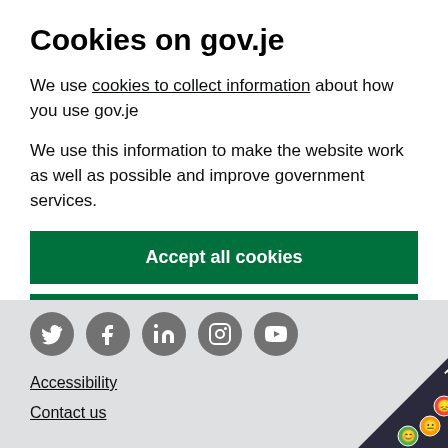Cookies on gov.je
We use cookies to collect information about how you use gov.je
We use this information to make the website work as well as possible and improve government services.
Accept all cookies
Cookie settings
[Figure (illustration): Row of social media icons (Twitter, Facebook, LinkedIn, Instagram, YouTube) in grey circles]
Accessibility
Contact us
[Figure (infographic): Feedback badge in bottom-right corner with smiley faces and text FEEDBACK]